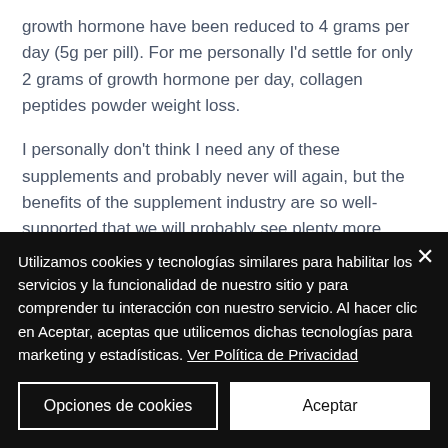growth hormone have been reduced to 4 grams per day (5g per pill). For me personally I'd settle for only 2 grams of growth hormone per day, collagen peptides powder weight loss.
I personally don't think I need any of these supplements and probably never will again, but the benefits of the supplement industry are so well-supported that we will probably see plenty more supplements available in the near future that can help.
Utilizamos cookies y tecnologías similares para habilitar los servicios y la funcionalidad de nuestro sitio y para comprender tu interacción con nuestro servicio. Al hacer clic en Aceptar, aceptas que utilicemos dichas tecnologías para marketing y estadísticas. Ver Política de Privacidad
Opciones de cookies
Aceptar